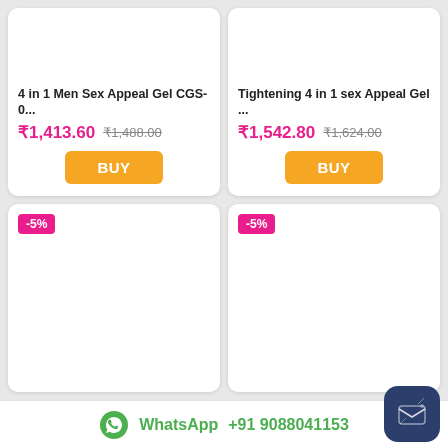[Figure (screenshot): Product card: 4 in 1 Men Sex Appeal Gel CGS-0... with price ₹1,413.60 (was ₹1,488.00) and BUY button]
[Figure (screenshot): Product card: Tightening 4 in 1 sex Appeal Gel ... with price ₹1,542.80 (was ₹1,624.00) and BUY button]
[Figure (screenshot): Product card with -5% discount badge, image area empty]
[Figure (screenshot): Product card with -5% discount badge, image area empty]
WhatsApp +91 9088041153